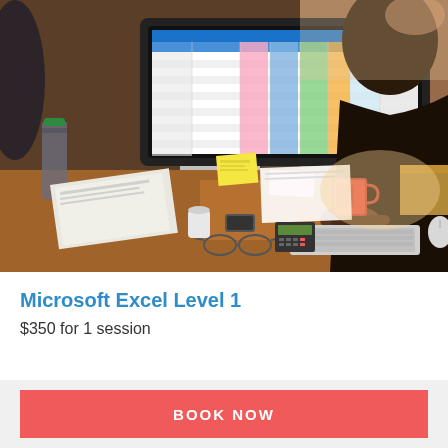[Figure (photo): Person working at a desk with a large monitor displaying a Microsoft Excel spreadsheet with colorful columns. The desk has a coffee mug, sticky notes, glasses, a calculator, papers, and office supplies. The scene shows a busy office workspace.]
Microsoft Excel Level 1
$350 for 1 session
BOOK NOW